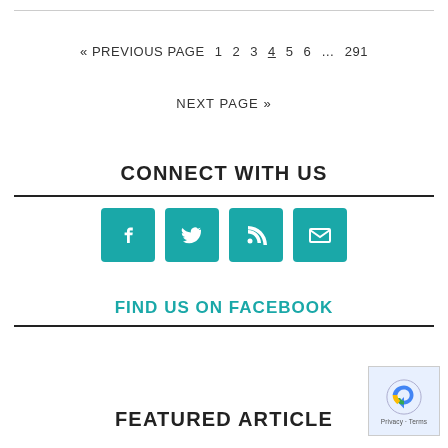« PREVIOUS PAGE  1  2  3  4  5  6  …  291
NEXT PAGE »
CONNECT WITH US
[Figure (infographic): Four teal social media icon buttons: Facebook (f), Twitter (bird), RSS (signal), Email (envelope)]
FIND US ON FACEBOOK
[Figure (logo): reCAPTCHA badge with Google logo, Privacy and Terms text]
FEATURED ARTICLE